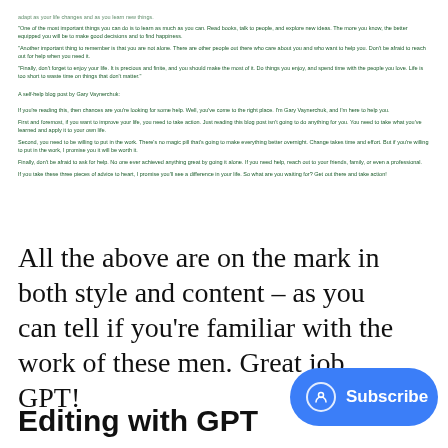adapt as your life changes and as you learn new things.
"One of the most important things you can do is to learn as much as you can. Read books, talk to people, and explore new ideas. The more you know, the better equipped you will be to make good decisions and to find happiness.
"Another important thing to remember is that you are not alone. There are other people out there who care about you and who want to help you. Don't be afraid to reach out for help when you need it.
"Finally, don't forget to enjoy your life. It is precious and finite, and you should make the most of it. Do things you enjoy, and spend time with the people you love. Life is too short to waste time on things that don't matter."
A self-help blog post by Gary Vaynerchuk:
If you're reading this, then chances are you're looking for some help. Well, you've come to the right place. I'm Gary Vaynerchuk, and I'm here to help you.
First and foremost, if you want to improve your life, you need to take action. Just reading this blog post isn't going to do anything for you. You need to take what you've learned and apply it to your own life.
Second, you need to be willing to put in the work. There's no magic pill that's going to make everything better overnight. Change takes time and effort. But if you're willing to put in the work, I promise you it will be worth it.
Finally, don't be afraid to ask for help. No one ever achieved anything great by going it alone. If you need help, reach out to your friends, family, or even a professional.
If you take these three pieces of advice to heart, I promise you'll see a difference in your life. So what are you waiting for? Get out there and take action!
All the above are on the mark in both style and content – as you can tell if you're familiar with the work of these men. Great job, GPT!
Editing with GPT